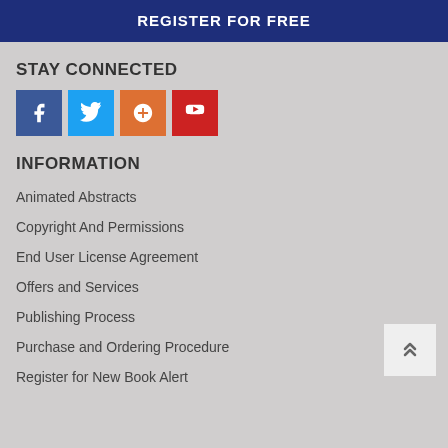REGISTER FOR FREE
STAY CONNECTED
[Figure (infographic): Four social media icon buttons: Facebook (blue), Twitter (light blue), Google+ (orange), YouTube (red)]
INFORMATION
Animated Abstracts
Copyright And Permissions
End User License Agreement
Offers and Services
Publishing Process
Purchase and Ordering Procedure
Register for New Book Alert